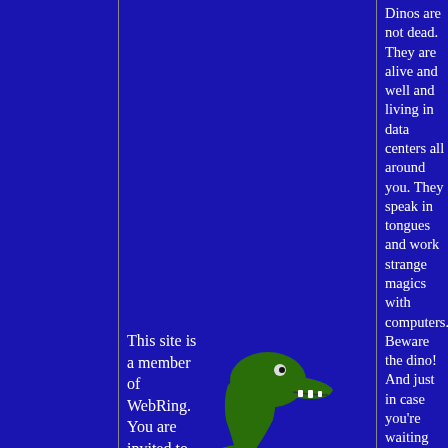This site is a member of WebRing. You are invited to browse the list of mainframe-loving sites.
[Figure (illustration): 3D rendered green dinosaur (T-Rex style) standing upright on dark blue background]
Dinos are not dead. They are alive and well and living in data centers all around you. They speak in tongues and work strange magics with computers. Beware the dino! And just in case you're waiting for the final